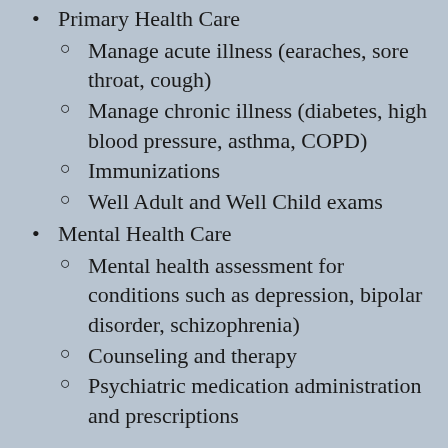Primary Health Care
Manage acute illness (earaches, sore throat, cough)
Manage chronic illness (diabetes, high blood pressure, asthma, COPD)
Immunizations
Well Adult and Well Child exams
Mental Health Care
Mental health assessment for conditions such as depression, bipolar disorder, schizophrenia)
Counseling and therapy
Psychiatric medication administration and prescriptions